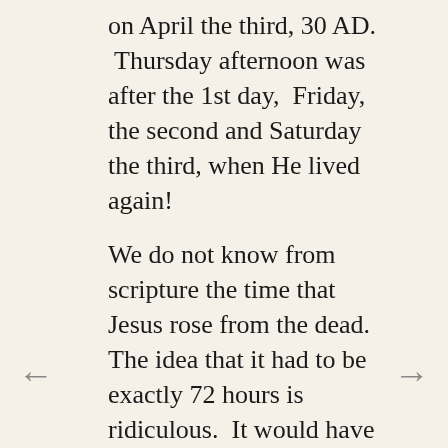on April the third, 30 AD. Thursday afternoon was after the 1st day, Friday, the second and Saturday the third, when He lived again!
We do not know from scripture the time that Jesus rose from the dead. The idea that it had to be exactly 72 hours is ridiculous. It would have been light at 3PM, and the guards story would never have been believed. We do know from scripture that he rose BEFORE the first day of the week, Sunday